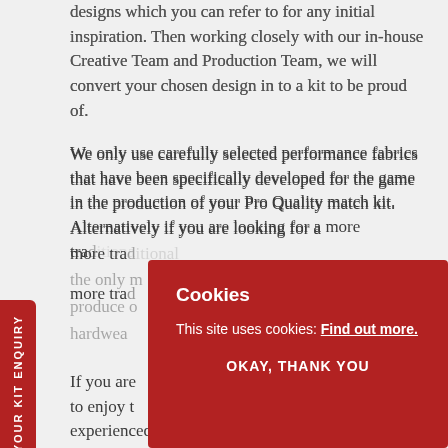RUGBY
designs which you can refer to for any initial inspiration. Then working closely with our in-house Creative Team and Production Team, we will convert your chosen design in to a kit to be proud of.
We only use carefully selected performance fabrics that have been specifically developed for the game in the production of your Pro Quality match kit. Alternatively if you are looking for a more traditional style of kit then we could be the only manufacturer... produce our kits using traditional hardware...
If you are... to enjoy t... experienced UK manufacturer, then Badger
[Figure (screenshot): Cookie consent overlay popup on a red background with title 'Cookies', body text 'This site uses cookies: Find out more.', and button 'OKAY, THANK YOU']
T YOUR KIT ENQUIRY (side tab)